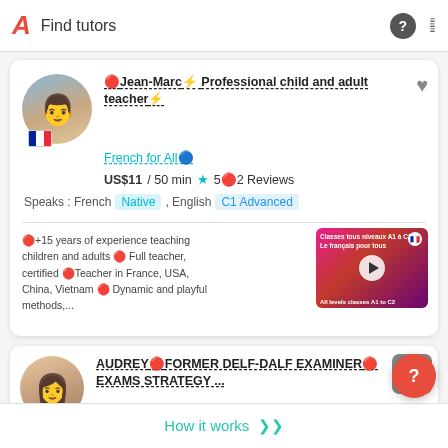Find tutors
🔴Jean-Marc⚡ Professional child and adult teacher⚡
French for All🔵
US$11 / 50 min ★ 5🔴2 Reviews
Speaks : French Native , English C1 Advanced
🔴+15 years of experience teaching children and adults 🔴 Full teacher, certified 🔴Teacher in France, USA, China, Vietnam 🔴 Dynamic and playful methods,...
[Figure (screenshot): Video thumbnail showing French language class promotional image with play button overlay, text 'Classes tous niveaux A1 à C2 Le français pour tous']
AUDREY🔴FORMER DELF-DALF EXAMINER🔴 EXAMS STRATEGY ...
CLASS FOR A1 TO C2🔴EXAMS
How it works ❯❯